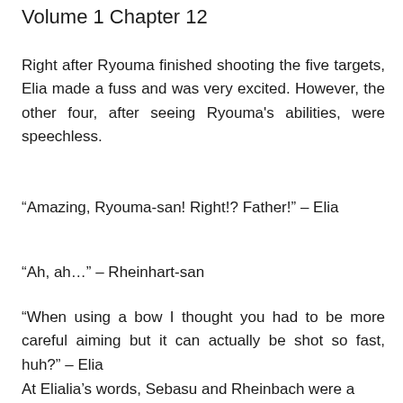Volume 1 Chapter 12
Right after Ryouma finished shooting the five targets, Elia made a fuss and was very excited. However, the other four, after seeing Ryouma's abilities, were speechless.
“Amazing, Ryouma-san! Right!? Father!” – Elia
“Ah, ah…” – Rheinhart-san
“When using a bow I thought you had to be more careful aiming but it can actually be shot so fast, huh?” – Elia
At Elialia’s words, Sebasu and Rheinbach were a